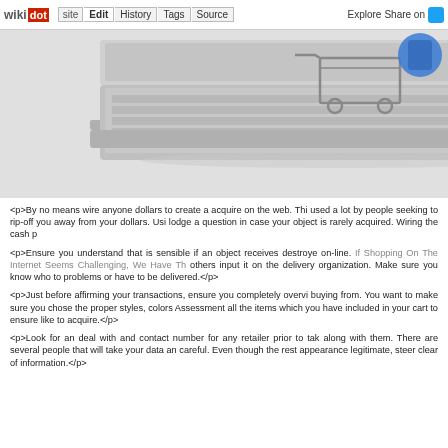wikidot | site | Edit | History | Tags | Source | Explore | Share on Twitter
[Figure (photo): A shopping cart placed on top of a open laptop computer, representing online shopping.]
<p>By no means wire anyone dollars to create a acquire on the web. This is used a lot by people seeking to rip-off you away from your dollars. Using lodge a question in case your object is rarely acquired. Wiring the cash p...
<p>Ensure you understand that is sensible if an object receives destroyed on-line. If Shopping On The Internet Seems Challenging, We Have The others input it on the delivery organization. Make sure you know who to problems or have to be delivered.</p>
<p>Just before affirming your transactions, ensure you completely overvi buying from. You want to make sure you chose the proper styles, colors Assessment all the items which you have included in your cart to ensure like to acquire.</p>
<p>Look for an deal with and contact number for any retailer prior to tak along with them. There are several people that will take your data an careful. Even though the rest appearance legitimate, steer clear of information.</p>